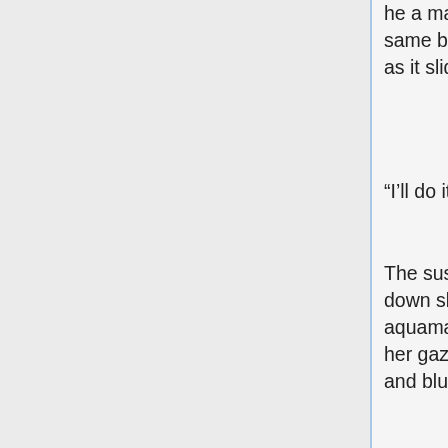he a man?) tell the girl with the pink hair how she might do so, and in the same breath denounce her chances. She catches the gleam of a signet as it slides onto a too-small finger.
“I’ll do it! I swear, I’ll become a prince! I swear!”
The suspended girl hears, and her heartbeat races (as does her blood down skewering blades). She spends precious energy to lift her head, aquamarine eyes glazed with torment. The girl with the pink hair meets her gaze with determined eyes like the summer sky, boundless and bold and blue.
Later, the suspended girl forgets, the events lost to crimson pain and time and trauma. Her heart remembers for her. A seed is planted, and languishes, bereft of light, dormant but not dead.